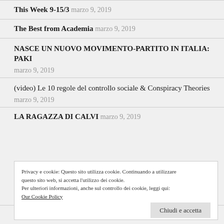This Week 9-15/3  marzo 9, 2019
The Best from Academia  marzo 9, 2019
NASCE UN NUOVO MOVIMENTO-PARTITO IN ITALIA: PAKI
marzo 9, 2019
(video) Le 10 regole del controllo sociale & Conspiracy Theories
marzo 9, 2019
LA RAGAZZA DI CALVI  marzo 9, 2019
Privacy e cookie: Questo sito utilizza cookie. Continuando a utilizzare questo sito web, si accetta l'utilizzo dei cookie.
Per ulteriori informazioni, anche sul controllo dei cookie, leggi qui:
Our Cookie Policy
[Chiudi e accetta]
Italia: ipocrisie varie ed eventuali sul lavoro  marzo 9